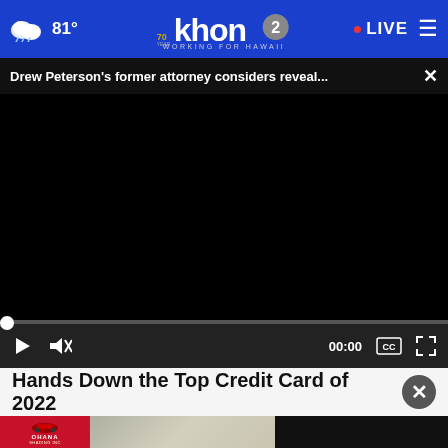81° · khon2 WORKING FOR HAWAII · LIVE
Drew Peterson's former attorney considers reveal... ×
[Figure (screenshot): Black video player area with playback controls: play button, mute button, timecode 00:00, CC button, fullscreen button, and a progress bar at the bottom]
Hands Down the Top Credit Card of 2022
[Figure (photo): Advertisement image strip showing OHANA logo on red background, a carport with cars, and a dark panel]